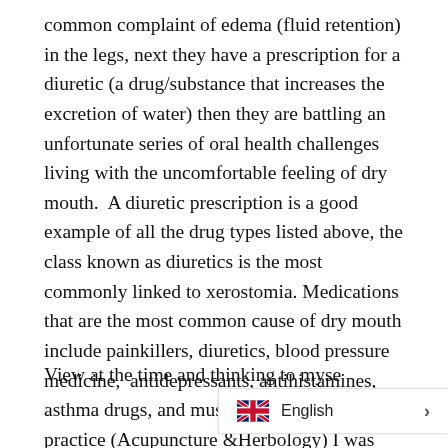common complaint of edema (fluid retention) in the legs, next they have a prescription for a diuretic (a drug/substance that increases the excretion of water) then they are battling an unfortunate series of oral health challenges living with the uncomfortable feeling of dry mouth.  A diuretic prescription is a good example of all the drug types listed above, the class known as diuretics is the most commonly linked to xerostomia. Medications that are the most common cause of dry mouth include painkillers, diuretics, blood pressure medicine,  antidepressants, antihistamines, asthma drugs, and muscle relaxants.  In my practice (Acupuncture &Herbology) I was somewhat surprised by the list of medications that seniors were taking. Many of these were not reviewed often enough and in my opinion, many were completely unnecessary or useless. I remember treating several patients w... View at the time and thinking to myse...